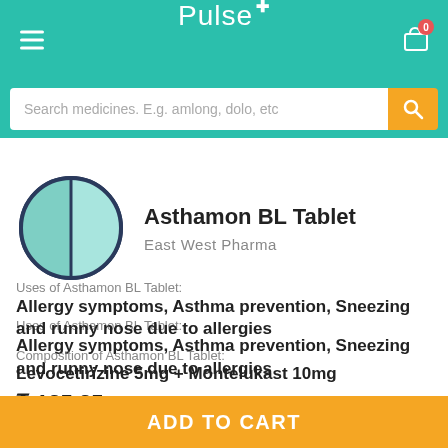Pulse+
Search medicines. E.g. amlong, dolo, etc
[Figure (illustration): Tablet pill icon: circle split vertically, left half teal/green, right half lighter teal, outlined in dark blue]
Asthamon BL Tablet
East West Pharma
Uses of Asthamon BL Tablet:
Allergy symptoms, Asthma prevention, Sneezing and runny nose due to allergies
Composition of Asthamon BL Tablet:
Levocetirizine 5mg + Montelukast 10mg
₹ 125.25
ADD TO CART